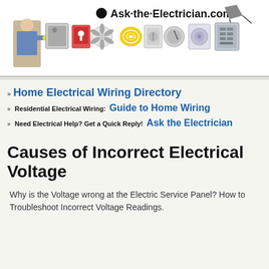[Figure (illustration): Ask-the-Electrician.com website header banner showing logo text with a black circle icon, a person holding electrical items, and a row of electrical product icons (outlet, fan, extension cord, appliances, panel box, etc.)]
» Home Electrical Wiring Directory
» Residential Electrical Wiring: Guide to Home Wiring
» Need Electrical Help? Get a Quick Reply! Ask the Electrician
Causes of Incorrect Electrical Voltage
Why is the Voltage wrong at the Electric Service Panel? How to Troubleshoot Incorrect Voltage Readings.